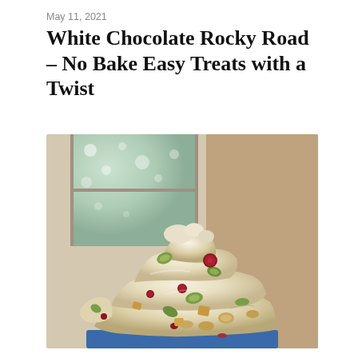May 11, 2021
White Chocolate Rocky Road – No Bake Easy Treats with a Twist
[Figure (photo): Close-up photograph of stacked pieces of white chocolate rocky road showing pistachios, dried cranberries, and peanuts embedded in white chocolate, on a blue plate with a blurred background.]